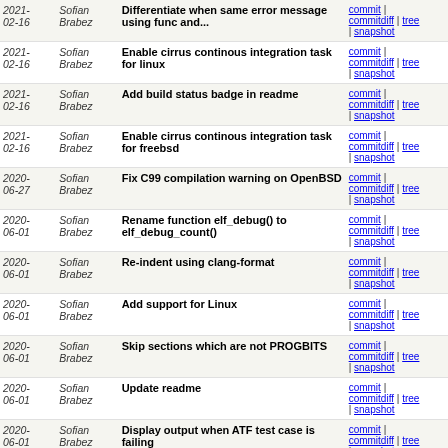| Date | Author | Message | Links |
| --- | --- | --- | --- |
| 2021-02-16 | Sofian Brabez | Differentiate when same error message using func and... | commit | commitdiff | tree | snapshot |
| 2021-02-16 | Sofian Brabez | Enable cirrus continous integration task for linux | commit | commitdiff | tree | snapshot |
| 2021-02-16 | Sofian Brabez | Add build status badge in readme | commit | commitdiff | tree | snapshot |
| 2021-02-16 | Sofian Brabez | Enable cirrus continous integration task for freebsd | commit | commitdiff | tree | snapshot |
| 2020-06-27 | Sofian Brabez | Fix C99 compilation warning on OpenBSD | commit | commitdiff | tree | snapshot |
| 2020-06-01 | Sofian Brabez | Rename function elf_debug() to elf_debug_count() | commit | commitdiff | tree | snapshot |
| 2020-06-01 | Sofian Brabez | Re-indent using clang-format | commit | commitdiff | tree | snapshot |
| 2020-06-01 | Sofian Brabez | Add support for Linux | commit | commitdiff | tree | snapshot |
| 2020-06-01 | Sofian Brabez | Skip sections which are not PROGBITS | commit | commitdiff | tree | snapshot |
| 2020-06-01 | Sofian Brabez | Update readme | commit | commitdiff | tree | snapshot |
| 2020-06-01 | Sofian Brabez | Display output when ATF test case is failing | commit | commitdiff | tree | snapshot |
| 2020-06-01 | Sofian Brabez | Add arguments flag -q for quiet mode and -v for verbose... | commit | commitdiff | tree | snapshot |
| 2020-06-01 | Sofian Brabez | Error handling when argument file is not ELF object... | commit | commitdiff | tree | snapshot |
| 2020-06-01 | Sofian Brabez | Rewrite ELF parsing from scratch | commit |